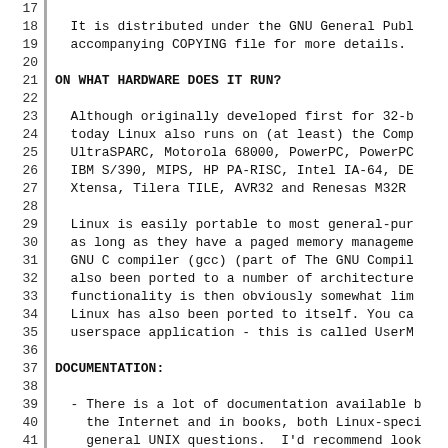17
18   It is distributed under the GNU General Publ
19   accompanying COPYING file for more details.
20
21 ON WHAT HARDWARE DOES IT RUN?
22
23   Although originally developed first for 32-b
24   today Linux also runs on (at least) the Comp
25   UltraSPARC, Motorola 68000, PowerPC, PowerPC
26   IBM S/390, MIPS, HP PA-RISC, Intel IA-64, DE
27   Xtensa, Tilera TILE, AVR32 and Renesas M32R
28
29   Linux is easily portable to most general-pur
30   as long as they have a paged memory manageme
31   GNU C compiler (gcc) (part of The GNU Compil
32   also been ported to a number of architecture
33   functionality is then obviously somewhat lim
34   Linux has also been ported to itself. You ca
35   userspace application - this is called UserM
36
37 DOCUMENTATION:
38
39  - There is a lot of documentation available b
40    the Internet and in books, both Linux-speci
41    general UNIX questions.  I'd recommend look
42    subdirectories on any Linux FTP site for th
43    Project) books.  This README is not meant t
44    system: there are much better sources avail
45
46  - There are various README files in the Docum
47    they typically contain kernel-specific infor